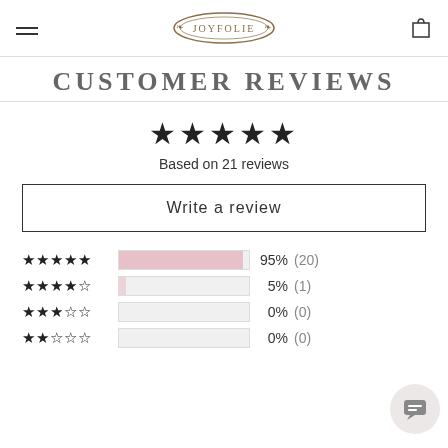JOYFOLIE (logo)
CUSTOMER REVIEWS
★★★★★
Based on 21 reviews
Write a review
[Figure (bar-chart): Rating breakdown]